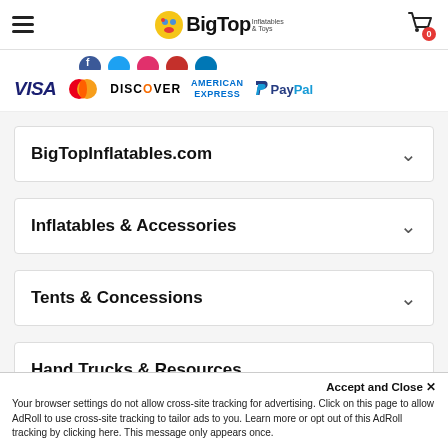BigTop Inflatables & Toys — navigation header with hamburger menu and cart icon showing 0 items
[Figure (logo): Payment method logos: Visa, MasterCard, Discover, American Express, PayPal with social media icons above]
BigTopInflatables.com
Inflatables & Accessories
Tents & Concessions
Hand Trucks & Resources
Accept and Close ✕
Your browser settings do not allow cross-site tracking for advertising. Click on this page to allow AdRoll to use cross-site tracking to tailor ads to you. Learn more or opt out of this AdRoll tracking by clicking here. This message only appears once.